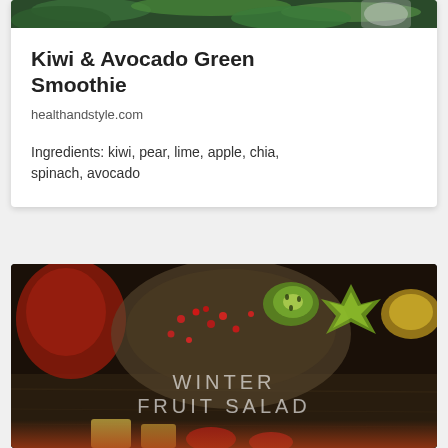[Figure (photo): Top portion of a Kiwi & Avocado Green Smoothie photo, showing green ingredients on a dark background, cropped at the top of the card]
Kiwi & Avocado Green Smoothie
healthandstyle.com
Ingredients: kiwi, pear, lime, apple, chia, spinach, avocado
[Figure (photo): Dark moody photo of a winter fruit salad in a bowl with pomegranate seeds, kiwi slices, star fruit, and other colorful fruits on a dark wooden surface. Text overlay reads 'WINTER FRUIT SALAD']